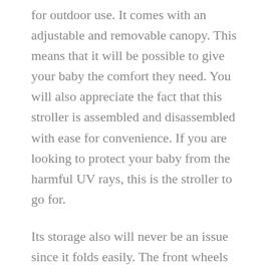for outdoor use. It comes with an adjustable and removable canopy. This means that it will be possible to give your baby the comfort they need. You will also appreciate the fact that this stroller is assembled and disassembled with ease for convenience. If you are looking to protect your baby from the harmful UV rays, this is the stroller to go for.
Its storage also will never be an issue since it folds easily. The front wheels for the stroller are anti-shock which means that your baby will be getting the utmost comfort. To add to that, it comes with a very lightweight which makes it easily portable. Although it comes at a relatively higher price, you will enjoy the fact that it gives you value for money.